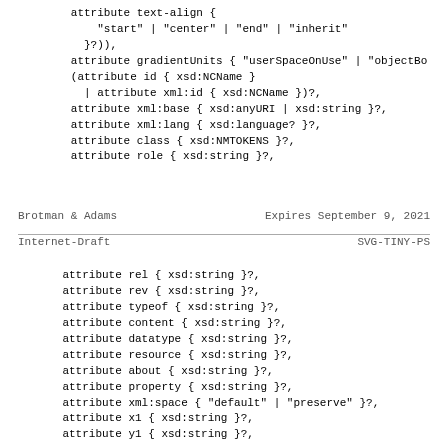attribute text-align {
    "start" | "center" | "end" | "inherit"
  }?)),
attribute gradientUnits { "userSpaceOnUse" | "objectBo
(attribute id { xsd:NCName }
 | attribute xml:id { xsd:NCName })?,
attribute xml:base { xsd:anyURI | xsd:string }?,
attribute xml:lang { xsd:language? }?,
attribute class { xsd:NMTOKENS }?,
attribute role { xsd:string }?,
Brotman & Adams        Expires September 9, 2021
Internet-Draft                      SVG-TINY-PS
attribute rel { xsd:string }?,
attribute rev { xsd:string }?,
attribute typeof { xsd:string }?,
attribute content { xsd:string }?,
attribute datatype { xsd:string }?,
attribute resource { xsd:string }?,
attribute about { xsd:string }?,
attribute property { xsd:string }?,
attribute xml:space { "default" | "preserve" }?,
attribute x1 { xsd:string }?,
attribute y1 { xsd:string }?,